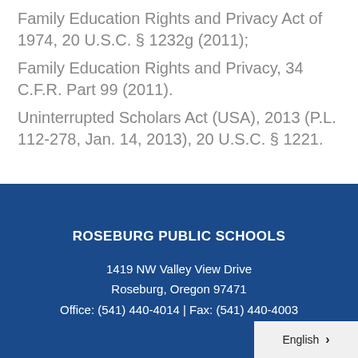Family Education Rights and Privacy Act of 1974, 20 U.S.C. § 1232g (2011); Family Education Rights and Privacy, 34 C.F.R. Part 99 (2011). Uninterrupted Scholars Act (USA), 2013 (P.L. 112-278, Jan. 14, 2013), 20 U.S.C. § 1221.
ROSEBURG PUBLIC SCHOOLS
1419 NW Valley View Drive
Roseburg, Oregon 97471
Office: (541) 440-4014 | Fax: (541) 440-4003